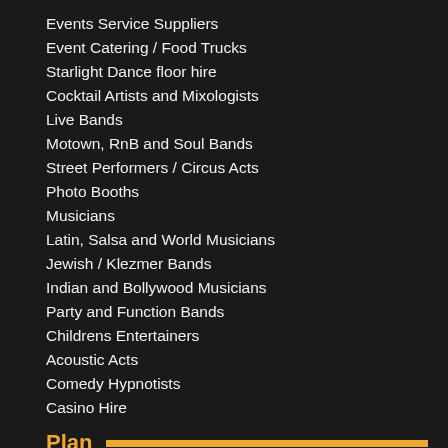Events Service Suppliers
Event Catering / Food Trucks
Starlight Dance floor hire
Cocktail Artists and Mixologists
Live Bands
Motown, RnB and Soul Bands
Street Performers / Circus Acts
Photo Booths
Musicians
Latin, Salsa and World Musicians
Jewish / Klezmer Bands
Indian and Bollywood Musicians
Party and Function Bands
Childrens Entertainers
Acoustic Acts
Comedy Hypnotists
Casino Hire
Plan
Wedding
Private Party